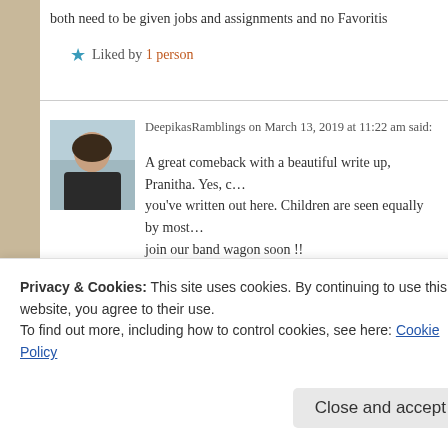both need to be given jobs and assignments and no favoritis…
★ Liked by 1 person
DeepikasRamblings on March 13, 2019 at 11:22 am said:
A great comeback with a beautiful write up, Pranitha. Yes, c… you've written out here. Children are seen equally by most… join our band wagon soon !!
★ Liked by 2 people
Privacy & Cookies: This site uses cookies. By continuing to use this website, you agree to their use.
To find out more, including how to control cookies, see here: Cookie Policy
Close and accept